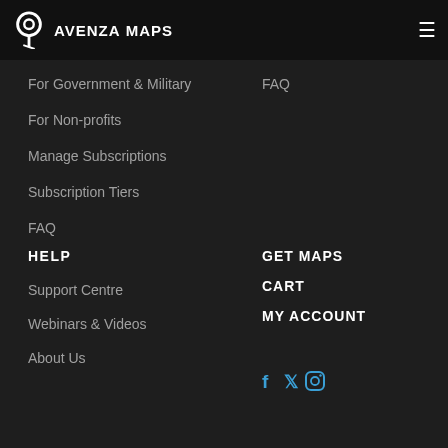AVENZA MAPS
Avenza Maps Pro
How it works
Industries
Benefits
For Government & Military
FAQ
For Non-profits
Manage Subscriptions
Subscription Tiers
FAQ
HELP
Support Centre
Webinars & Videos
About Us
GET MAPS
CART
MY ACCOUNT